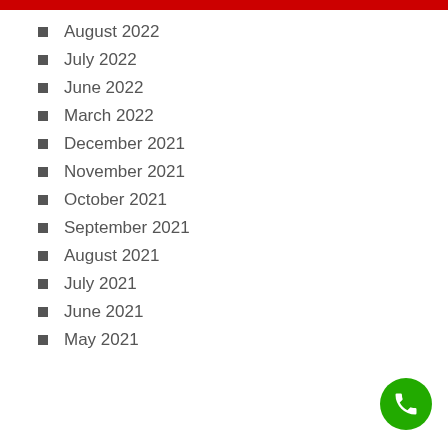August 2022
July 2022
June 2022
March 2022
December 2021
November 2021
October 2021
September 2021
August 2021
July 2021
June 2021
May 2021